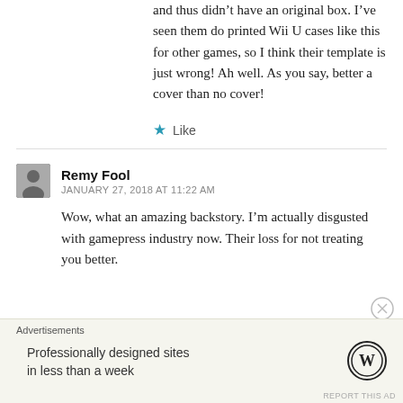and thus didn't have an original box. I've seen them do printed Wii U cases like this for other games, so I think their template is just wrong! Ah well. As you say, better a cover than no cover!
★ Like
Remy Fool
JANUARY 27, 2018 AT 11:22 AM
Wow, what an amazing backstory. I'm actually disgusted with gamepress industry now. Their loss for not treating you better.
Advertisements
Professionally designed sites in less than a week